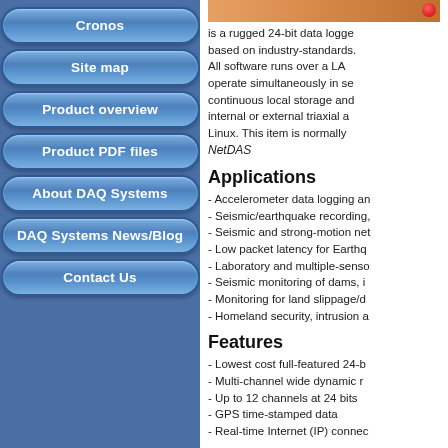Cronos
Site map
Product overview
Product PDF files
About DAQ Systems
DAQ Systems News/Blog
Contact Us
[Figure (photo): Product image with orange/red color scheme]
is a rugged 24-bit data logger based on industry-standards. All software runs over a LA... operate simultaneously in se... continuous local storage an... internal or external triaxial a... Linux. This item is normally... NetDAS
Applications
- Accelerometer data logging an...
- Seismic/earthquake recording,...
- Seismic and strong-motion net...
- Low packet latency for Earthq...
- Laboratory and multiple-senso...
- Seismic monitoring of dams, i...
- Monitoring for land slippage/d...
- Homeland security, intrusion a...
Features
- Lowest cost full-featured 24-b...
- Multi-channel wide dynamic r...
- Up to 12 channels at 24 bits
- GPS time-stamped data
- Real-time Internet (IP) connec...